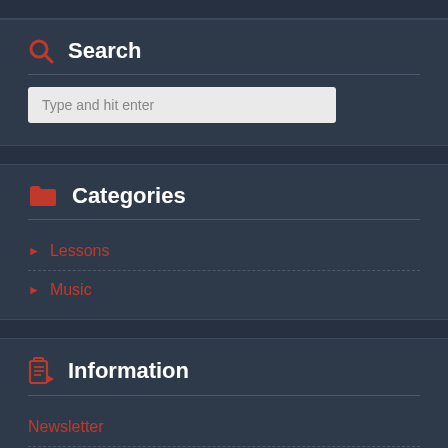Search
Type and hit enter
Categories
Lessons
Music
Information
Newsletter